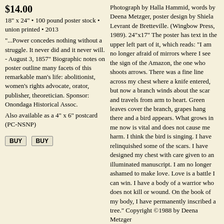$14.00
18" x 24" • 100 pound poster stock • union printed • 2013
"...Power concedes nothing without a struggle. It never did and it never will. - August 3, 1857" Biographic notes on poster outline many facets of this remarkable man's life: abolitionist, women's rights advocate, orator, publisher, theoretician. Sponsor: Onondaga Historical Assoc.
Also available as a 4" x 6" postcard (PC-NSNP)
Photograph by Halla Hammid, words by Deena Metzger, poster design by Shiela Levrant de Bretteville. (Wingbow Press, 1989). 24"x17" The poster has text in the upper left part of it, which reads: "I am no longer afraid of mirrors where I see the sign of the Amazon, the one who shoots arrows. There was a fine line across my chest where a knife entered, but now a branch winds about the scar and travels from arm to heart. Green leaves cover the branch, grapes hang there and a bird appears. What grows in me now is vital and does not cause me harm. I think the bird is singing. I have relinquished some of the scars. I have designed my chest with care given to an illuminated manuscript. I am no longer ashamed to make love. Love is a battle I can win. I have a body of a warrior who does not kill or wound. On the book of my body, I have permanently inscribed a tree." Copyright ©1988 by Deena Metzger
Poster: Kids Learn
$5.00
Poster: Signs
$18.00